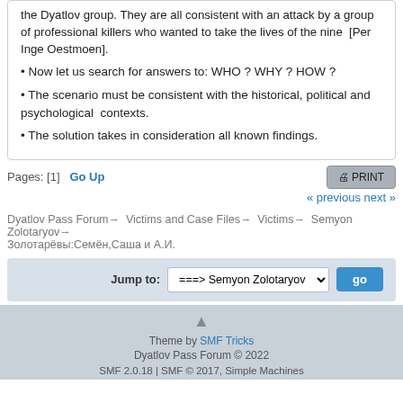the Dyatlov group. They are all consistent with an attack by a group of professional killers who wanted to take the lives of the nine [Per Inge Oestmoen].
• Now let us search for answers to: WHO ? WHY ? HOW ?
• The scenario must be consistent with the historical, political and psychological contexts.
• The solution takes in consideration all known findings.
Pages: [1]  Go Up
« previous  next »
Dyatlov Pass Forum → Victims and Case Files → Victims → Semyon Zolotaryov → Золотарёвы:Семён,Саша и А.И.
Jump to: ===> Semyon Zolotaryov  go
Theme by SMF Tricks
Dyatlov Pass Forum © 2022
SMF 2.0.18 | SMF © 2017, Simple Machines